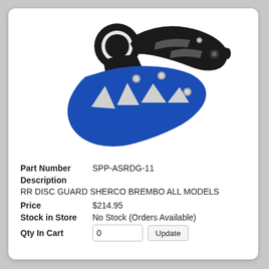[Figure (photo): Product photo of a motorcycle rear disc guard (SPP-ASRDG-11) with black plastic upper bracket and blue anodized aluminum lower guard with white/silver triangular cutout sections and silver mounting bolts.]
| Part Number | SPP-ASRDG-11 |
| Description |  |
|  | RR DISC GUARD SHERCO BREMBO ALL MODELS |
| Price | $214.95 |
| Stock in Store | No Stock (Orders Available) |
| Qty In Cart | 0 |